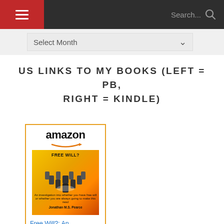Navigation bar with hamburger menu and search
Select Month
US LINKS TO MY BOOKS (LEFT = PB, RIGHT = KINDLE)
[Figure (screenshot): Amazon book widget showing 'Free Will?: An investigation...' with an orange-bordered Amazon logo at top and book cover image]
Free Will?: An investigation...
$17.69